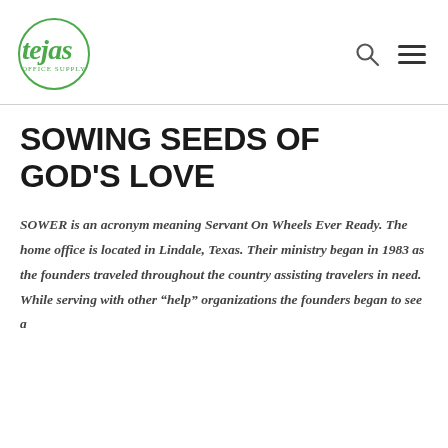tejas
SOWING SEEDS OF GOD'S LOVE
SOWER is an acronym meaning Servant On Wheels Ever Ready. The home office is located in Lindale, Texas. Their ministry began in 1983 as the founders traveled throughout the country assisting travelers in need. While serving with other “help” organizations the founders began to see a